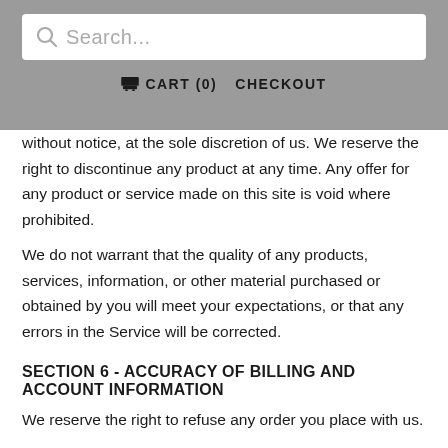Search... | CART (0) | CHECKOUT
without notice, at the sole discretion of us. We reserve the right to discontinue any product at any time. Any offer for any product or service made on this site is void where prohibited.
We do not warrant that the quality of any products, services, information, or other material purchased or obtained by you will meet your expectations, or that any errors in the Service will be corrected.
SECTION 6 - ACCURACY OF BILLING AND ACCOUNT INFORMATION
We reserve the right to refuse any order you place with us.